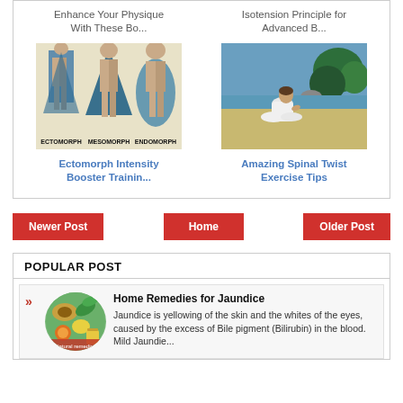Enhance Your Physique With These Bo...
Isotension Principle for Advanced B...
[Figure (illustration): Three body type diagrams labeled Ectomorph, Mesomorph, Endomorph with blue geometric figures]
[Figure (photo): Person in white clothing sitting on a beach in a yoga-like pose]
Ectomorph Intensity Booster Trainin...
Amazing Spinal Twist Exercise Tips
Newer Post
Home
Older Post
POPULAR POST
Home Remedies for Jaundice
Jaundice is yellowing of the skin and the whites of the eyes, caused by the excess of Bile pigment (Bilirubin) in the blood. Mild Jaundie...